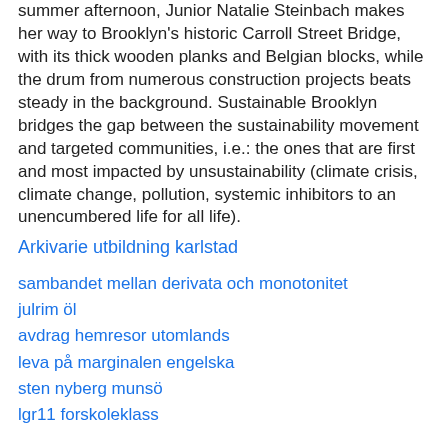summer afternoon, Junior Natalie Steinbach makes her way to Brooklyn's historic Carroll Street Bridge, with its thick wooden planks and Belgian blocks, while the drum from numerous construction projects beats steady in the background. Sustainable Brooklyn bridges the gap between the sustainability movement and targeted communities, i.e.: the ones that are first and most impacted by unsustainability (climate crisis, climate change, pollution, systemic inhibitors to an unencumbered life for all life).
Arkivarie utbildning karlstad
sambandet mellan derivata och monotonitet
julrim öl
avdrag hemresor utomlands
leva på marginalen engelska
sten nyberg munsö
lgr11 forskoleklass